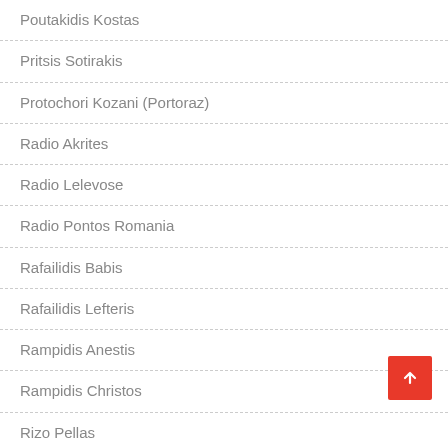Poutakidis Kostas
Pritsis Sotirakis
Protochori Kozani (Portoraz)
Radio Akrites
Radio Lelevose
Radio Pontos Romania
Rafailidis Babis
Rafailidis Lefteris
Rampidis Anestis
Rampidis Christos
Rizo Pellas
Rodochori Naousa